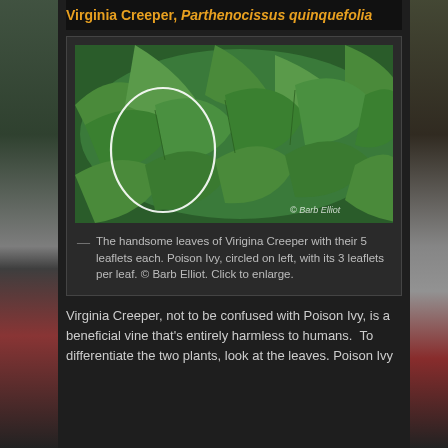Virginia Creeper, Parthenocissus quinquefolia
[Figure (photo): Close-up photo of Virginia Creeper leaves showing 5 leaflets each, with a white circle highlighting a Poison Ivy plant with 3 leaflets on the left side. Photo credit: © Barb Elliot.]
The handsome leaves of Virigina Creeper with their 5 leaflets each. Poison Ivy, circled on left, with its 3 leaflets per leaf. © Barb Elliot. Click to enlarge.
Virginia Creeper, not to be confused with Poison Ivy, is a beneficial vine that's entirely harmless to humans.  To differentiate the two plants, look at the leaves. Poison Ivy